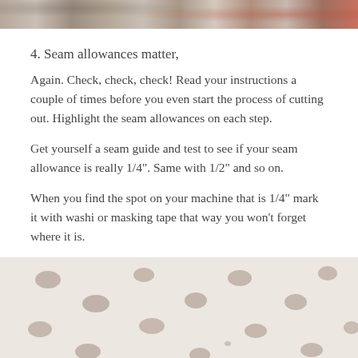[Figure (photo): Top strip of a colorful quilt/fabric photo]
4. Seam allowances matter,
Again. Check, check, check!  Read your instructions a couple of times before you even start the process of cutting out. Highlight the seam allowances on each step.
Get yourself a seam guide and test to see if your seam allowance is really 1/4". Same with 1/2" and so on.
When you find the spot on your machine that is 1/4" mark it with washi or masking tape that way you won't forget where it is.
[Figure (photo): Polka dot fabric — cream background with brown/mauve dots, photographed close up]